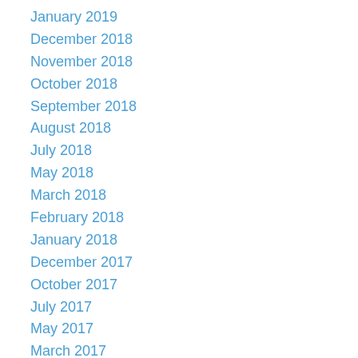January 2019
December 2018
November 2018
October 2018
September 2018
August 2018
July 2018
May 2018
March 2018
February 2018
January 2018
December 2017
October 2017
July 2017
May 2017
March 2017
February 2017
January 2017
December 2016
November 2016